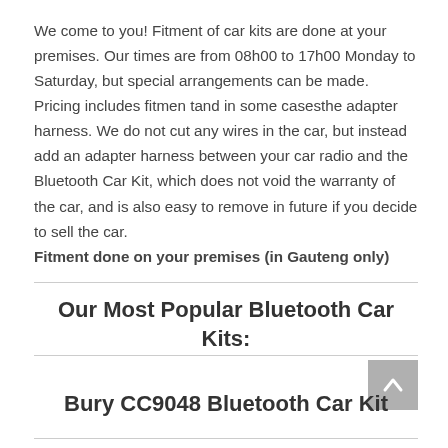We come to you! Fitment of car kits are done at your premises. Our times are from 08h00 to 17h00 Monday to Saturday, but special arrangements can be made. Pricing includes fitmen tand in some casesthe adapter harness. We do not cut any wires in the car, but instead add an adapter harness between your car radio and the Bluetooth Car Kit, which does not void the warranty of the car, and is also easy to remove in future if you decide to sell the car. Fitment done on your premises (in Gauteng only)
Our Most Popular Bluetooth Car Kits:
Bury CC9048 Bluetooth Car Kit